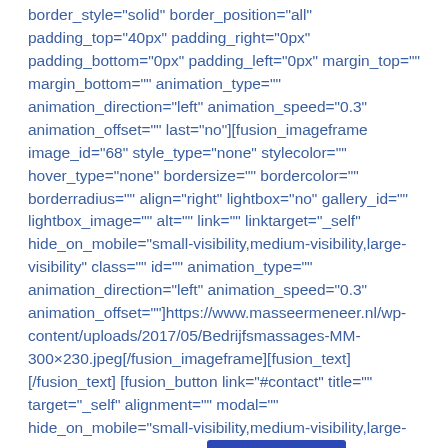border_style="solid" border_position="all" padding_top="40px" padding_right="0px" padding_bottom="0px" padding_left="0px" margin_top="" margin_bottom="" animation_type="" animation_direction="left" animation_speed="0.3" animation_offset="" last="no"][fusion_imageframe image_id="68" style_type="none" stylecolor="" hover_type="none" bordersize="" bordercolor="" borderradius="" align="right" lightbox="no" gallery_id="" lightbox_image="" alt="" link="" linktarget="_self" hide_on_mobile="small-visibility,medium-visibility,large-visibility" class="" id="" animation_type="" animation_direction="left" animation_speed="0.3" animation_offset=""]https://www.masseermeneer.nl/wp-content/uploads/2017/05/Bedrijfsmassages-MM-300×230.jpeg[/fusion_imageframe][fusion_text] [/fusion_text] [fusion_button link="#contact" title="" target="_self" alignment="" modal="" hide_on_mobile="small-visibility,medium-visibility,large-visibility" class="" id="" col[Boeken!]on_gradient_top_color="" button_gradient_bottom_color=""